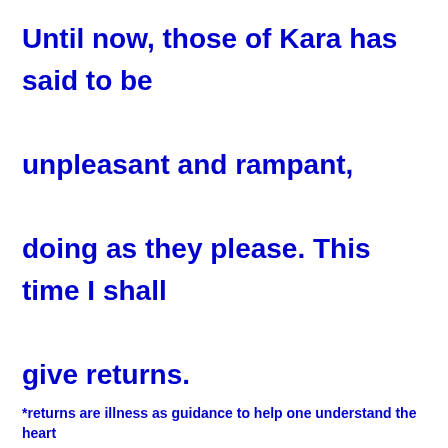Until now, those of Kara has said to be unpleasant and rampant, doing as they please. This time I shall give returns.
*returns are illness as guidance to help one understand the heart
(kono hanashi) (tare ni douse to) (yuu de nashi)   *-
(Tsukihi tobideta) (mamami suru nari )10-